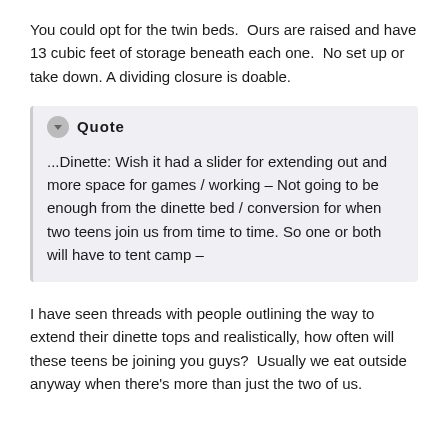You could opt for the twin beds.  Ours are raised and have 13 cubic feet of storage beneath each one.  No set up or take down. A dividing closure is doable.
Quote

...Dinette: Wish it had a slider for extending out and more space for games / working – Not going to be enough from the dinette bed / conversion for when two teens join us from time to time. So one or both will have to tent camp –
I have seen threads with people outlining the way to extend their dinette tops and realistically, how often will these teens be joining you guys?  Usually we eat outside anyway when there's more than just the two of us.